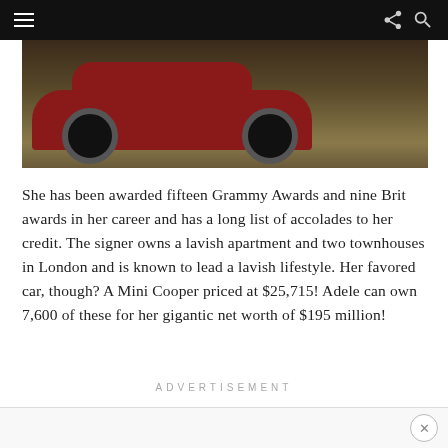Navigation bar with hamburger menu, share icon, and search icon
[Figure (photo): Partial view of a red car (Mini Cooper) on a cobblestone surface, showing the underside and rear wheels]
She has been awarded fifteen Grammy Awards and nine Brit awards in her career and has a long list of accolades to her credit. The signer owns a lavish apartment and two townhouses in London and is known to lead a lavish lifestyle. Her favored car, though? A Mini Cooper priced at $25,715! Adele can own 7,600 of these for her gigantic net worth of $195 million!
ADVERTISEMENT
Bottom bar with close button